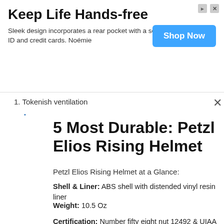[Figure (other): Advertisement banner: Keep Life Hands-free. Sleek design incorporates a rear pocket with a secure snap for your ID and credit cards. Noémie. Shop Now button.]
1. Tokenish ventilation
5 Most Durable: Petzl Elios Rising Helmet
Petzl Elios Rising Helmet at a Glance:
Shell & Liner: ABS shell with distended vinyl resin liner
Weight: 10.5 Oz
Certification: Number fifty eight nut 12492 & UIAA certified
Best For Rock, Alpine, Ice & climb
5. Other: Four integrated clips for lightweight, sliding shutters
A helmet with a troublesome plastic shell offers you the